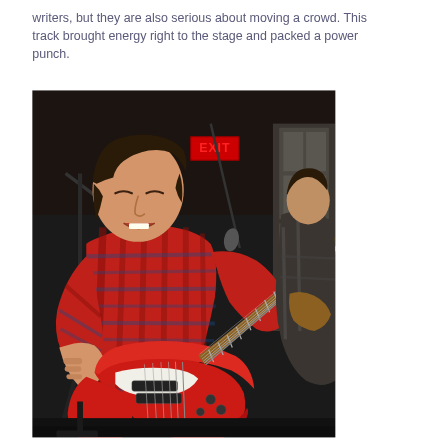writers, but they are also serious about moving a crowd. This track brought energy right to the stage and packed a power punch.
[Figure (photo): A man in a plaid red shirt playing a red electric guitar and singing into a microphone on stage. An EXIT sign glows in red in the background. Another guitarist is partially visible behind him.]